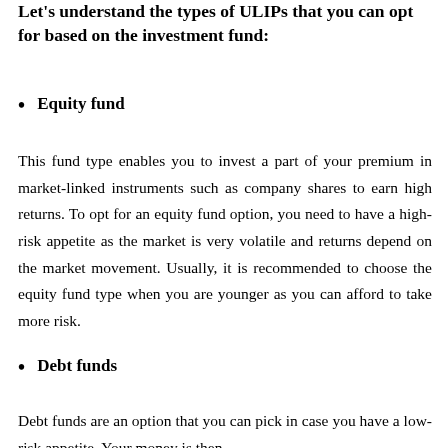Let's understand the types of ULIPs that you can opt for based on the investment fund:
Equity fund
This fund type enables you to invest a part of your premium in market-linked instruments such as company shares to earn high returns. To opt for an equity fund option, you need to have a high-risk appetite as the market is very volatile and returns depend on the market movement. Usually, it is recommended to choose the equity fund type when you are younger as you can afford to take more risk.
Debt funds
Debt funds are an option that you can pick in case you have a low-risk appetite. Your money is then